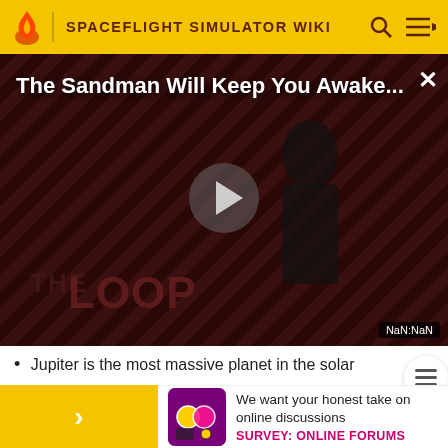SPACEFLIGHT SIMULATOR WIKI
[Figure (screenshot): Video thumbnail for 'The Sandman Will Keep You Awake...' with a dark figure in black against diagonal striped background. The Loop watermark visible at bottom. Play button in center. NaN:NaN time display in bottom right corner.]
Jupiter is the most massive planet in the solar
[Figure (infographic): Survey popup card with yellow arrow button on left, purple/pink icon image, and text 'We want your honest take on online discussions' with CTA 'SURVEY: ONLINE FORUMS']
J...
Si...